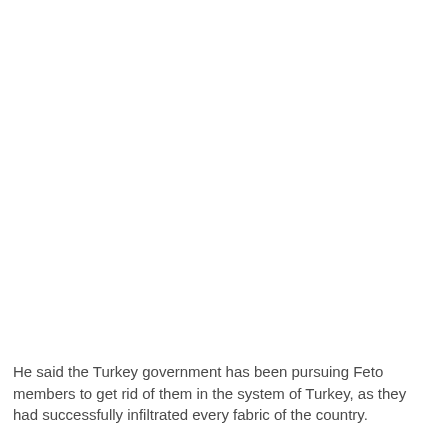He said the Turkey government has been pursuing Feto members to get rid of them in the system of Turkey, as they had successfully infiltrated every fabric of the country.